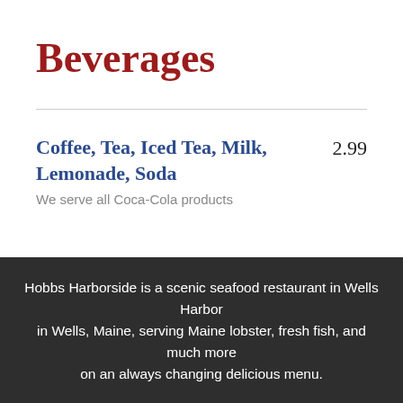Beverages
Coffee, Tea, Iced Tea, Milk, Lemonade, Soda — 2.99
We serve all Coca-Cola products
Hobbs Harborside is a scenic seafood restaurant in Wells Harbor in Wells, Maine, serving Maine lobster, fresh fish, and much more on an always changing delicious menu.